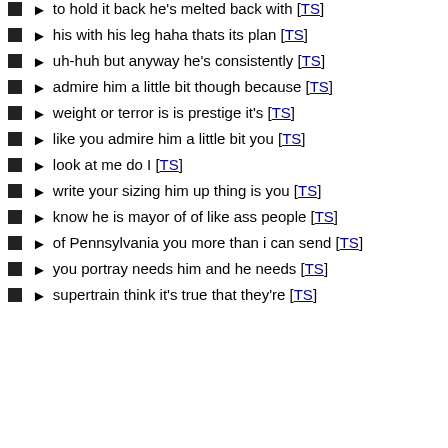to hold it back he's melted back with [TS]
his with his leg haha thats its plan [TS]
uh-huh but anyway he's consistently [TS]
admire him a little bit though because [TS]
weight or terror is is prestige it's [TS]
like you admire him a little bit you [TS]
look at me do I [TS]
write your sizing him up thing is you [TS]
know he is mayor of of like ass people [TS]
of Pennsylvania you more than i can send [TS]
you portray needs him and he needs [TS]
supertrain think it's true that they're [TS]